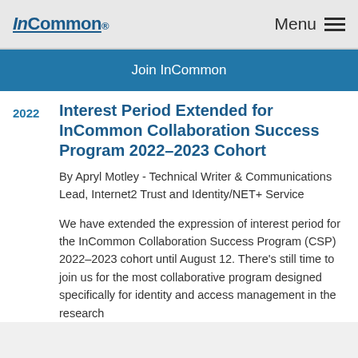InCommon | Menu
Join InCommon
Interest Period Extended for InCommon Collaboration Success Program 2022–2023 Cohort
By Apryl Motley - Technical Writer & Communications Lead, Internet2 Trust and Identity/NET+ Service
We have extended the expression of interest period for the InCommon Collaboration Success Program (CSP) 2022–2023 cohort until August 12. There's still time to join us for the most collaborative program designed specifically for identity and access management in the research